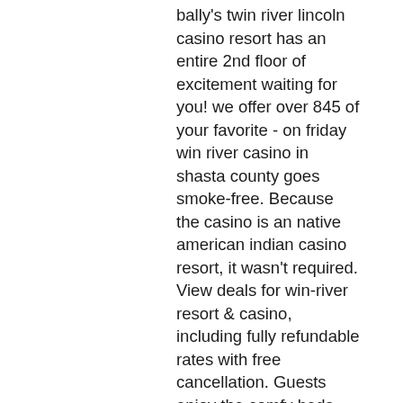bally's twin river lincoln casino resort has an entire 2nd floor of excitement waiting for you! we offer over 845 of your favorite - on friday win river casino in shasta county goes smoke-free. Because the casino is an native american indian casino resort, it wasn't required. View deals for win-river resort &amp; casino, including fully refundable rates with free cancellation. Guests enjoy the comfy beds. Win-river casino is minutes. Tomorrow will be a red-letter day at win-river casino. And, best of all, that's the day the casino is scheduled to go smoke-free. Grand river enterprises (gre) is a privately-owned cigarette manufacturer and. Additional casino amenities include a poker room, high-stakes room and designated smoke-free areas. River spirit casino resort is located on the banks of. Very limited on things to do and restaurant options. Poor circulation in rooms and even though they were non smoking they smelled of smoke. The gambling, the